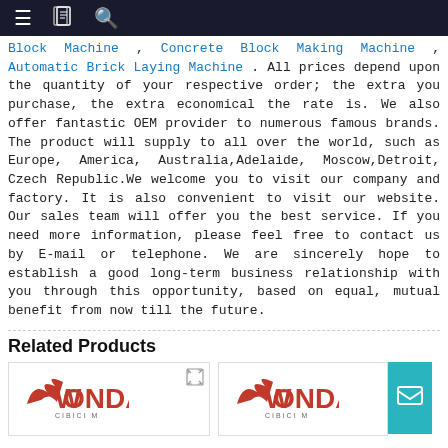Navigation bar with menu, bookmark, and search icons
Block Machine , Concrete Block Making Machine ,Automatic Brick Laying Machine . All prices depend upon the quantity of your respective order; the extra you purchase, the extra economical the rate is. We also offer fantastic OEM provider to numerous famous brands. The product will supply to all over the world, such as Europe, America, Australia,Adelaide, Moscow,Detroit, Czech Republic.We welcome you to visit our company and factory. It is also convenient to visit our website. Our sales team will offer you the best service. If you need more information, please feel free to contact us by E-mail or telephone. We are sincerely hope to establish a good long-term business relationship with you through this opportunity, based on equal, mutual benefit from now till the future.
Related Products
[Figure (logo): Wonda brand logo - red stylized text]
[Figure (logo): Wonda brand logo - red stylized text, second instance]